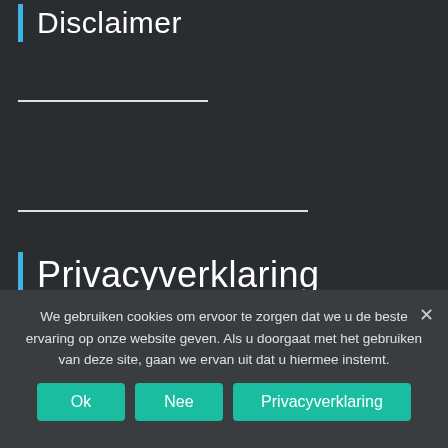Disclaimer
Privacyverklaring
We gebruiken cookies om ervoor te zorgen dat we u de beste ervaring op onze website geven. Als u doorgaat met het gebruiken van deze site, gaan we ervan uit dat u hiermee instemt.
Ok  Nee  Privacyverklaring